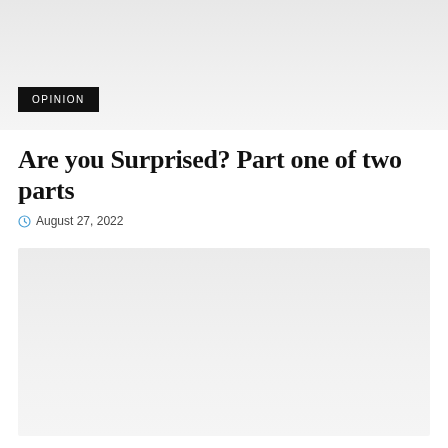[Figure (photo): Gray placeholder image area with OPINION badge overlay at bottom left]
Are you Surprised? Part one of two parts
August 27, 2022
[Figure (photo): Gray placeholder image area]